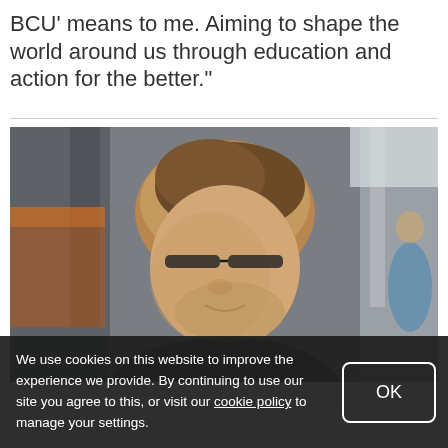BCU' means to me. Aiming to shape the world around us through education and action for the better."
[Figure (photo): Young man with glasses and light brown hair, looking downward slightly, in a blurred indoor university environment. He is wearing a dark shirt.]
We use cookies on this website to improve the experience we provide. By continuing to use our site you agree to this, or visit our cookie policy to manage your settings.